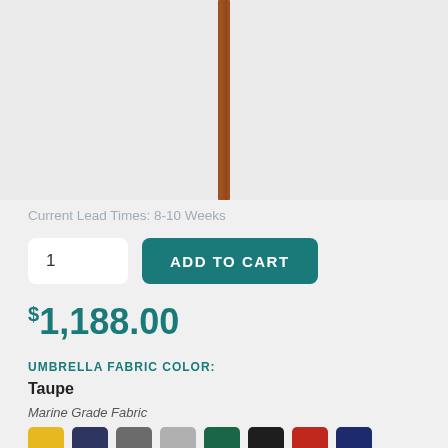[Figure (photo): Product image showing a wooden umbrella pole/stand against a light gray background, partially cropped]
Current Lead Times: 8-10 Weeks
1   ADD TO CART
$1,188.00
UMBRELLA FABRIC COLOR:
Taupe
Marine Grade Fabric
[Figure (illustration): Row of color swatches: yellow, navy, gray, light gray, dark teal, black, red, and dark navy/blue]